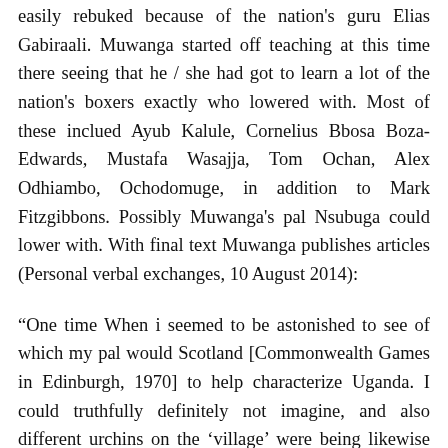easily rebuked because of the nation's guru Elias Gabiraali. Muwanga started off teaching at this time there seeing that he / she had got to learn a lot of the nation's boxers exactly who lowered with. Most of these inclued Ayub Kalule, Cornelius Bbosa Boza-Edwards, Mustafa Wasajja, Tom Ochan, Alex Odhiambo, Ochodomuge, in addition to Mark Fitzgibbons. Possibly Muwanga's pal Nsubuga could lower with. With final text Muwanga publishes articles (Personal verbal exchanges, 10 August 2014):
“One time When i seemed to be astonished to see of which my pal would Scotland [Commonwealth Games in Edinburgh, 1970] to help characterize Uganda. I could truthfully definitely not imagine, and also different urchins on the ‘village’ were being likewise intending for making